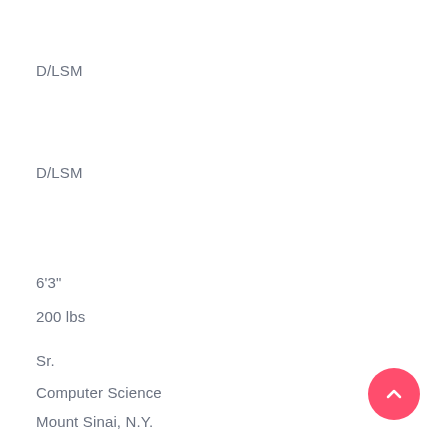D/LSM
D/LSM
6'3"
200 lbs
Sr.
Computer Science
Mount Sinai, N.Y.
Mount Sinai